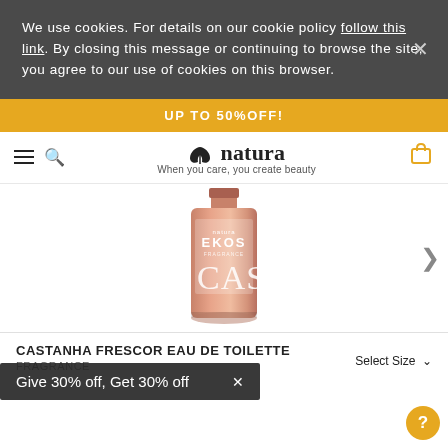We use cookies. For details on our cookie policy follow this link. By closing this message or continuing to browse the site, you agree to our use of cookies on this browser.
UP TO 50% OFF!
natura — When you care, you create beauty
[Figure (photo): Natura EKOS CASTANHA fragrance bottle in rose gold/pink, partially cropped, on white background]
CASTANHA FRESCOR EAU DE TOILETTE
FRAGRANCE
Select Size
Give 30% off, Get 30% off